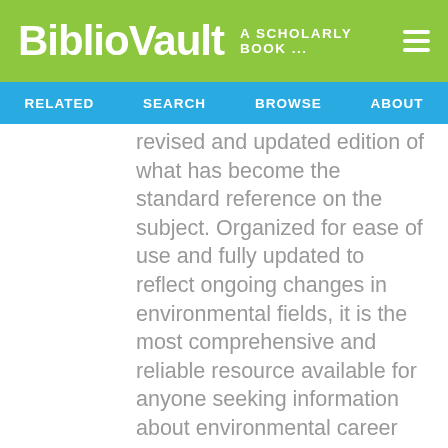BiblioVault  A SCHOLARLY BOOK ...
RELATED  SEARCH  BROWSE  ABOUT
revised and updated edition of what has become the standard reference on the subject. Organized for ease of use and fully updated to reflect ongoing changes in environmental fields, it is the most comprehensive and reliable resource available for anyone seeking information about environmental career opportunities and how to get started in one. The book presents: a thorough consideration of environmental trends for the 21st century and the likely impact of those trends on future career opportunities an overview of environmental professions including a statistical review of how to get started in one.